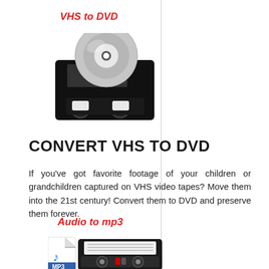VHS to DVD
[Figure (photo): VHS tape cassette with a DVD disc leaning against it]
CONVERT VHS TO DVD
If you've got favorite footage of your children or grandchildren captured on VHS video tapes? Move them into the 21st century! Convert them to DVD and preserve them forever.
Audio to mp3
[Figure (photo): Audio cassette tape with an MP3 file icon overlaid on top]